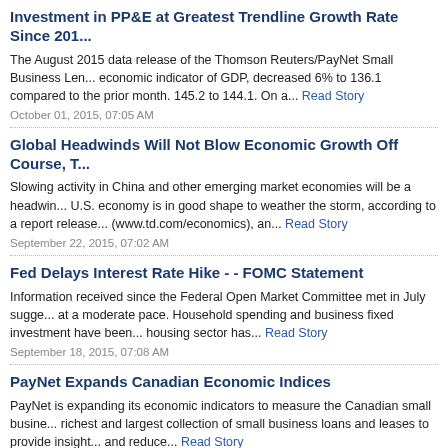Investment in PP&E at Greatest Trendline Growth Rate Since 201...
The August 2015 data release of the Thomson Reuters/PayNet Small Business Len... economic indicator of GDP, decreased 6% to 136.1 compared to the prior month. 145.2 to 144.1. On a... Read Story
October 01, 2015, 07:05 AM
Global Headwinds Will Not Blow Economic Growth Off Course, T...
Slowing activity in China and other emerging market economies will be a headwin... U.S. economy is in good shape to weather the storm, according to a report release... (www.td.com/economics), an... Read Story
September 22, 2015, 07:02 AM
Fed Delays Interest Rate Hike - - FOMC Statement
Information received since the Federal Open Market Committee met in July sugge... at a moderate pace. Household spending and business fixed investment have been... housing sector has... Read Story
September 18, 2015, 07:08 AM
PayNet Expands Canadian Economic Indices
PayNet is expanding its economic indicators to measure the Canadian small busine... richest and largest collection of small business loans and leases to provide insight... and reduce... Read Story
September 15, 2015, 07:04 AM